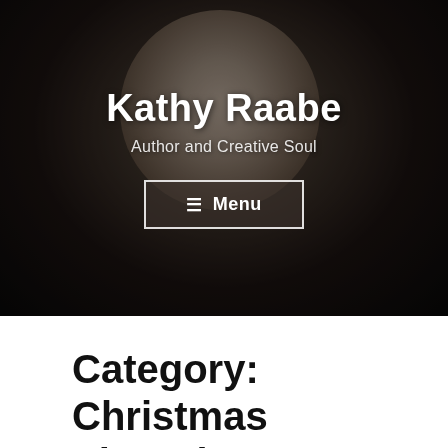[Figure (photo): Portrait photo of a middle-aged woman with short grey hair wearing a blue patterned top and a colorful beaded necklace, overlaid with dark vignette. Site header image for Kathy Raabe's blog.]
Kathy Raabe
Author and Creative Soul
≡  Menu
Category: Christmas Shopping